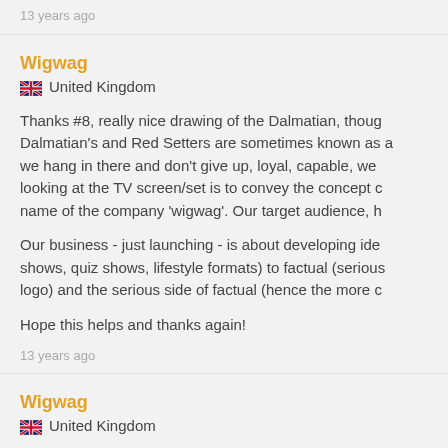13 years ago
Wigwag
🇬🇧 United Kingdom
Thanks #8, really nice drawing of the Dalmatian, though Dalmatian's and Red Setters are sometimes known as a we hang in there and don't give up, loyal, capable, we looking at the TV screen/set is to convey the concept of name of the company 'wigwag'. Our target audience, h
Our business - just launching - is about developing ide shows, quiz shows, lifestyle formats) to factual (serious logo) and the serious side of factual (hence the more c
Hope this helps and thanks again!
13 years ago
Wigwag
🇬🇧 United Kingdom
Thanks #9, I like how you've integrated the 'TV' into th